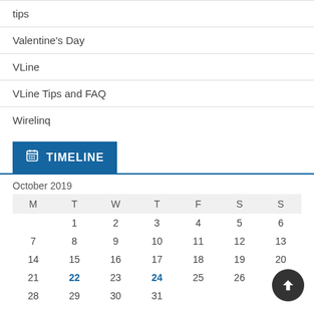tips
Valentine's Day
VLine
VLine Tips and FAQ
Wirelinq
TIMELINE
| M | T | W | T | F | S | S |
| --- | --- | --- | --- | --- | --- | --- |
|  | 1 | 2 | 3 | 4 | 5 | 6 |
| 7 | 8 | 9 | 10 | 11 | 12 | 13 |
| 14 | 15 | 16 | 17 | 18 | 19 | 20 |
| 21 | 22 | 23 | 24 | 25 | 26 | 27 |
| 28 | 29 | 30 | 31 |  |  |  |